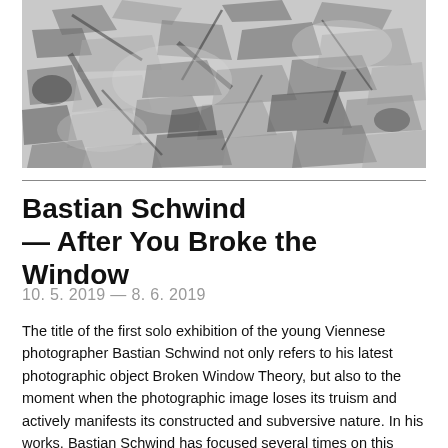[Figure (photo): Black and white photograph showing a pile of broken and fragmented debris, pieces of wood, paper and other rubble scattered in a chaotic arrangement.]
Bastian Schwind — After You Broke the Window
10. 5. 2019 — 8. 6. 2019
The title of the first solo exhibition of the young Viennese photographer Bastian Schwind not only refers to his latest photographic object Broken Window Theory, but also to the moment when the photographic image loses its truism and actively manifests its constructed and subversive nature. In his works, Bastian Schwind has focused several times on this transition in the perception of photography. The modular architecture of the last two centuries and the materials used in it